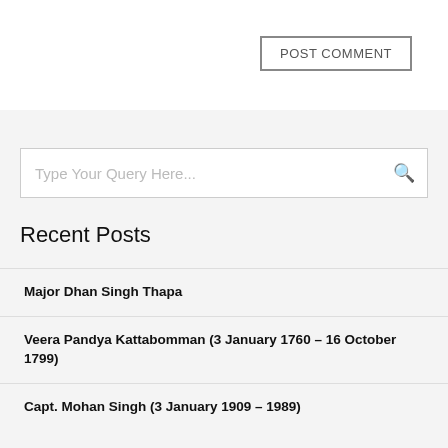POST COMMENT
[Figure (screenshot): Search input box with placeholder text 'Type Your Query Here...' and a search icon on the right]
Recent Posts
Major Dhan Singh Thapa
Veera Pandya Kattabomman (3 January 1760 – 16 October 1799)
Capt. Mohan Singh (3 January 1909 – 1989)